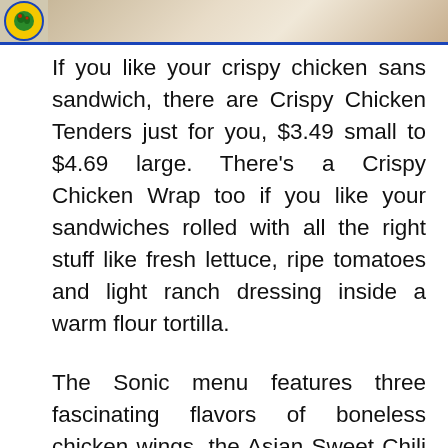[Figure (photo): Top portion of page showing a restaurant logo (circular emblem on blue background) on the left and a food photo (crispy chicken sandwich/tenders) on the right, with a blue border at the bottom.]
If you like your crispy chicken sans sandwich, there are Crispy Chicken Tenders just for you, $3.49 small to $4.69 large. There's a Crispy Chicken Wrap too if you like your sandwiches rolled with all the right stuff like fresh lettuce, ripe tomatoes and light ranch dressing inside a warm flour tortilla.
The Sonic menu features three fascinating flavors of boneless chicken wings, the Asian Sweet Chili Boneless Wings,